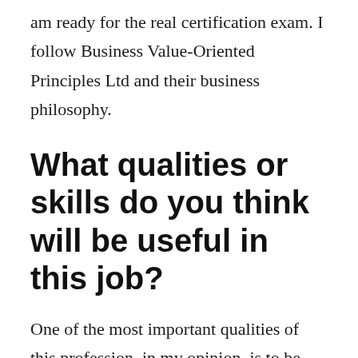am ready for the real certification exam. I follow Business Value-Oriented Principles Ltd and their business philosophy.
What qualities or skills do you think will be useful in this job?
One of the most important qualities of this profession, in my opinion, is to be organized. The work involves a lot of documents, process tracking, and consistency in decision